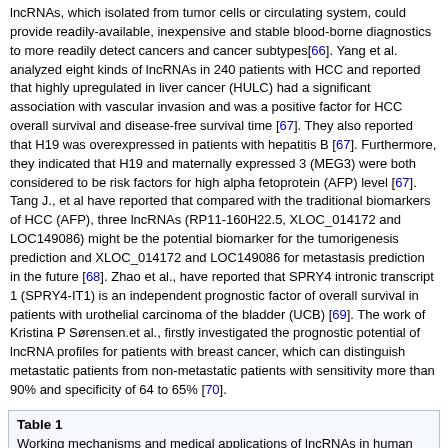lncRNAs, which isolated from tumor cells or circulating system, could provide readily-available, inexpensive and stable blood-borne diagnostics to more readily detect cancers and cancer subtypes[66]. Yang et al. analyzed eight kinds of lncRNAs in 240 patients with HCC and reported that highly upregulated in liver cancer (HULC) had a significant association with vascular invasion and was a positive factor for HCC overall survival and disease-free survival time [67]. They also reported that H19 was overexpressed in patients with hepatitis B [67]. Furthermore, they indicated that H19 and maternally expressed 3 (MEG3) were both considered to be risk factors for high alpha fetoprotein (AFP) level [67]. Tang J., et al have reported that compared with the traditional biomarkers of HCC (AFP), three lncRNAs (RP11-160H22.5, XLOC_014172 and LOC149086) might be the potential biomarker for the tumorigenesis prediction and XLOC_014172 and LOC149086 for metastasis prediction in the future [68]. Zhao et al., have reported that SPRY4 intronic transcript 1 (SPRY4-IT1) is an independent prognostic factor of overall survival in patients with urothelial carcinoma of the bladder (UCB) [69]. The work of Kristina P Sørensen.et al., firstly investigated the prognostic potential of lncRNA profiles for patients with breast cancer, which can distinguish metastatic patients from non-metastatic patients with sensitivity more than 90% and specificity of 64 to 65% [70].
| LncRNA | Working mechanisms | Medical applications |
| --- | --- | --- |
| ANRASSF1 | form an RNA/DNA hybrid and recruits PRC2 to the RASSF1A promoter[76] | Biomarker : breast cancer[77] |